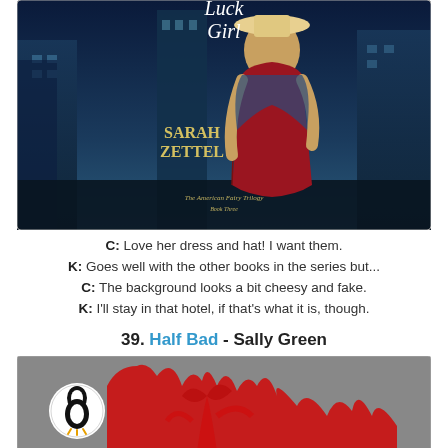[Figure (illustration): Book cover of 'Luck Girl' by Sarah Zettel - The American Fairy Trilogy Book Three. Shows a woman in a red dress and hat standing in front of a city background.]
C: Love her dress and hat! I want them.
K: Goes well with the other books in the series but...
C: The background looks a bit cheesy and fake.
K: I'll stay in that hotel, if that's what it is, though.
39. Half Bad - Sally Green
[Figure (illustration): Book cover of 'Half Bad' by Sally Green, published by Penguin. Grey background with red abstract splatter/tree design.]